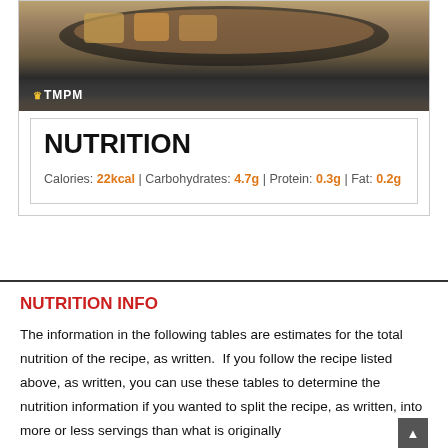[Figure (photo): Food photo showing baked/fried appetizers on a dark plate, with TMPM logo overlay in bottom left corner]
NUTRITION
Calories: 22kcal | Carbohydrates: 4.7g | Protein: 0.3g | Fat: 0.2g
NUTRITION INFO
The information in the following tables are estimates for the total nutrition of the recipe, as written. If you follow the recipe listed above, as written, you can use these tables to determine the nutrition information if you wanted to split the recipe, as written, into more or less servings than what is originally